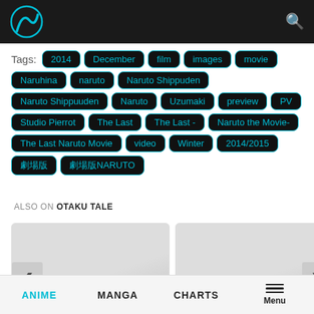Otaku Tale website header with logo and search icon
Tags: 2014 December film images movie Naruhina naruto Naruto Shippuden Naruto Shippuuden Naruto Uzumaki preview PV Studio Pierrot The Last The Last - Naruto the Movie- The Last Naruto Movie video Winter 2014/2015 劇場版 劇場版NARUTO
ALSO ON OTAKU TALE
[Figure (screenshot): Card for Blue Period TV Anime article, showing gray placeholder image, '· ago · 1 comment', title 'Blue Period TV Anime']
[Figure (screenshot): Card for Yuragisou no Yuuna San article, showing gray placeholder image, '5 years ago · 1 comment', title 'Yuragisou no Yuuna San']
ANIME  MANGA  CHARTS  Menu